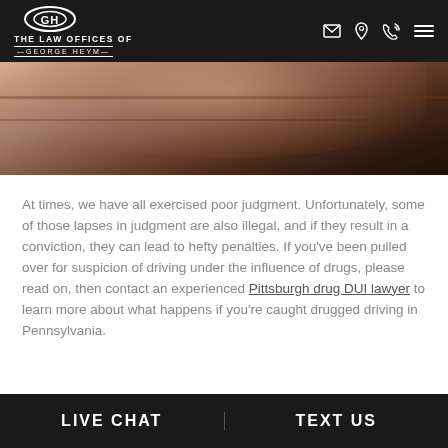THE LAW OFFICES OF GEORGE HEYM
[Figure (photo): Close-up photo of a hand, showing skin texture, with dark brown and warm tones in the background]
At times, we have all exercised poor judgment. Unfortunately, some of those lapses in judgment are also illegal, and if they result in a conviction, they can lead to hefty penalties. If you've been pulled over for suspicion of driving under the influence of drugs, please read on, then contact an experienced Pittsburgh drug DUI lawyer to learn more about what happens if you're caught drugged driving in Pennsylvania.
LIVE CHAT   TEXT US